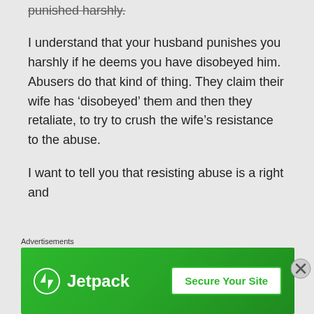punished harshly.
I understand that your husband punishes you harshly if he deems you have disobeyed him. Abusers do that kind of thing. They claim their wife has ‘disobeyed’ them and then they retaliate, to try to crush the wife’s resistance to the abuse.
I want to tell you that resisting abuse is a right and
Advertisements
[Figure (screenshot): Jetpack advertisement banner with green background, Jetpack logo on left and 'Secure Your Site' button on right]